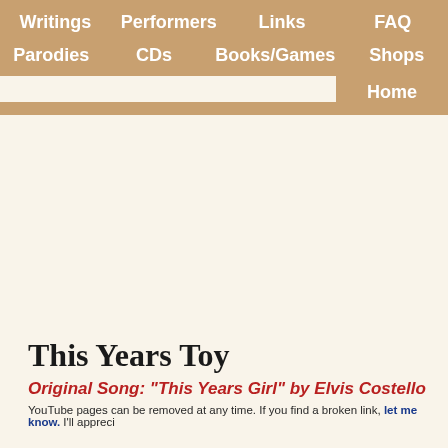Writings | Performers | Links | FAQ | Parodies | CDs | Books/Games | Shops | Home
This Years Toy
Original Song: "This Years Girl" by Elvis Costello
YouTube pages can be removed at any time. If you find a broken link, let me know. I'll appreci